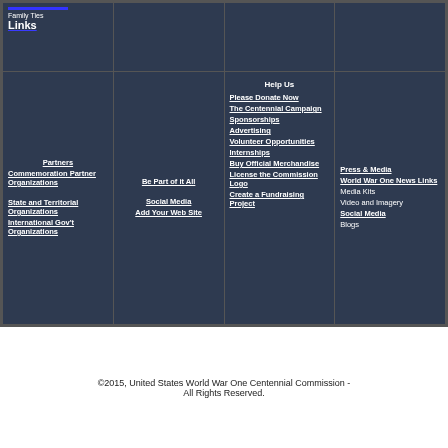| Family Ties
Links |  |  |  |
| Partners
Commemoration Partner Organizations
State and Territorial Organizations
International Gov't Organizations | Be Part of it All
Social Media
Add Your Web Site | Help Us
Please Donate Now
The Centennial Campaign
Sponsorships
Advertising
Volunteer Opportunities
Internships
Buy Official Merchandise
License the Commission Logo
Create a Fundraising Project | Press & Media
World War One News Links
Media Kits
Video and Imagery
Social Media
Blogs |
©2015, United States World War One Centennial Commission - All Rights Reserved.